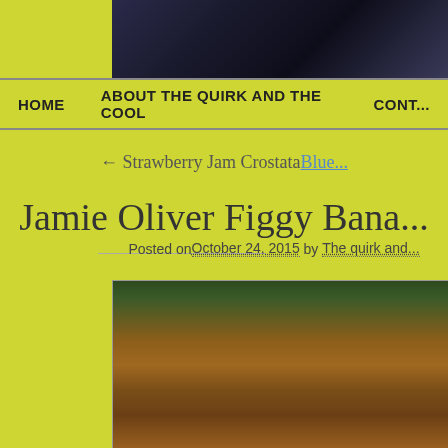[Figure (photo): Header photo showing concert/event stage with drums and lighting equipment]
HOME   ABOUT THE QUIRK AND THE COOL   CONT...
← Strawberry Jam Crostata
Blue...
Jamie Oliver Figgy Bana...
Posted on October 24, 2015 by The quirk and...
[Figure (photo): Photo of a baked figgy banana bread/cake topped with figs and nuts, served on a decorative plate, with green foliage in the background]